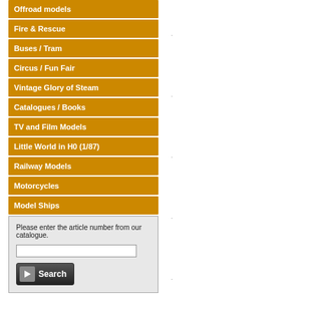Offroad models
Fire & Rescue
Buses / Tram
Circus / Fun Fair
Vintage Glory of Steam
Catalogues / Books
TV and Film Models
Little World in H0 (1/87)
Railway Models
Motorcycles
Model Ships
Please enter the article number from our catalogue.